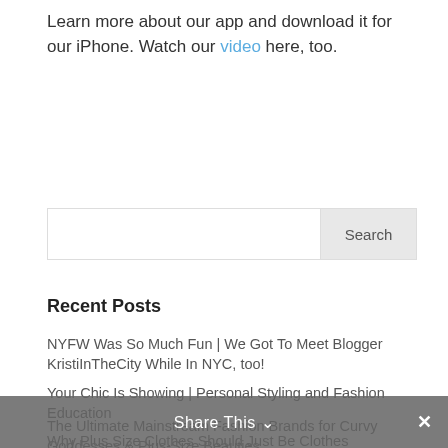Learn more about our app and download it for our iPhone. Watch our video here, too.
[Figure (other): Search input box with Search button]
Recent Posts
NYFW Was So Much Fun | We Got To Meet Blogger KristiInTheCity While In NYC, too!
Your Chic Is Showing | Personal Styling and Fashion Education
Why Plus Size Clothes Should Just Be Clothes
20 Popular Body Acceptance Books
The Ultimate Mainstream Fashion Brands for Curvy Goddesses & Plus-Size Beauties
Share This ✓ ×